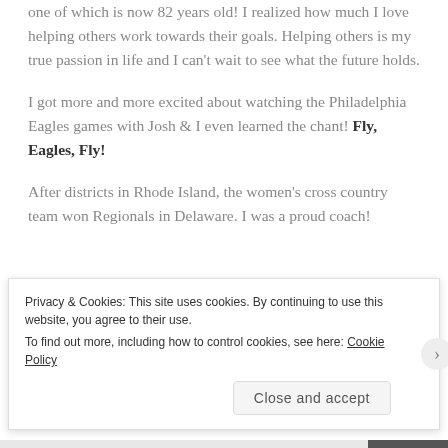one of which is now 82 years old!  I realized how much I love helping others work towards their goals.  Helping others is my true passion in life and I can't wait to see what the future holds.
I got more and more excited about watching the Philadelphia Eagles games with Josh & I even learned the chant!  Fly, Eagles, Fly!
After districts in Rhode Island, the women's cross country team won Regionals in Delaware.  I was a proud coach!
(partially visible/faded text at bottom)
Privacy & Cookies: This site uses cookies. By continuing to use this website, you agree to their use.
To find out more, including how to control cookies, see here: Cookie Policy
Close and accept